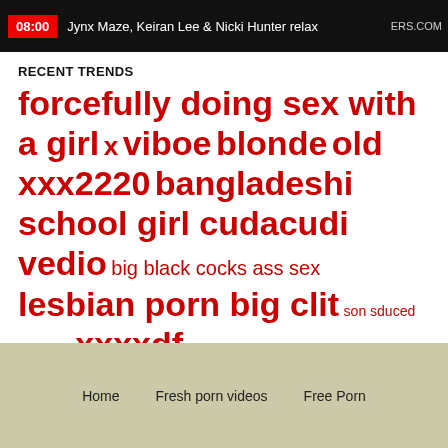[Figure (screenshot): Video thumbnail bar showing timestamp 08:00 and title 'Jynx Maze, Keiran Lee & Nicki Hunter relax' with site tag 'ERS.COM']
RECENT TRENDS
forcefully doing sex with a girl x viboe blonde old xxx2220 bangladeshi school girl cudacudi vedio  big black cocks ass sex  lesbian porn big clit  son sduced his mom  xxxxdf  brother sister
Home   Fresh porn videos   Free Porn